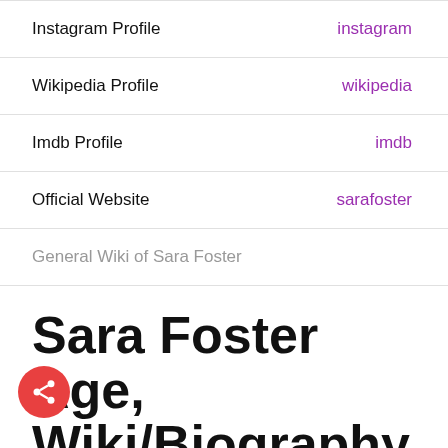| Label | Link |
| --- | --- |
| Instagram Profile | instagram |
| Wikipedia Profile | wikipedia |
| Imdb Profile | imdb |
| Official Website | sarafoster |
| General Wiki of Sara Foster |  |
Sara Foster Age, Wiki/Biography
Sara Foster was born on February 05, 1981 inside Los Angeles, California, United States to David Foster(dad) and Rebecaa Foster(mom) along with